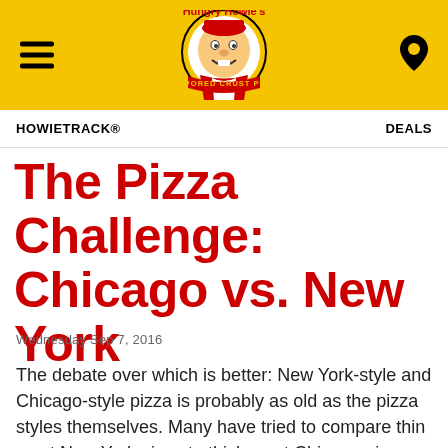[Figure (logo): Hungry Howie's Flavored Crust Pizza logo with cartoon character, yellow circular header bar with hamburger menu icon and location pin icon]
HOWIETRACK®    DEALS
The Pizza Challenge: Chicago vs. New York
Wednesday Sep 7, 2016
The debate over which is better: New York-style and Chicago-style pizza is probably as old as the pizza styles themselves. Many have tried to compare thin crust New York pizza to thick crust Chicago pizza and declare a winner. Many have failed. The discussion usually goes nowhere, as proponents of